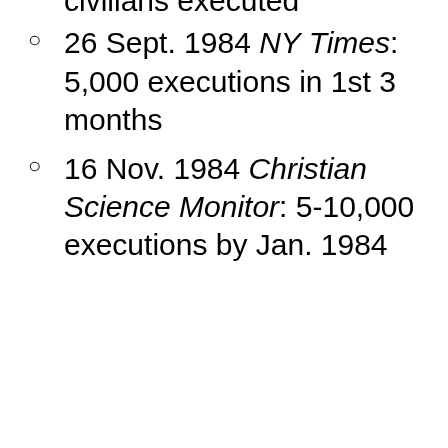Eckhardt: 3,000 civilians executed
26 Sept. 1984 NY Times: 5,000 executions in 1st 3 months
16 Nov. 1984 Christian Science Monitor: 5-10,000 executions by Jan. 1984